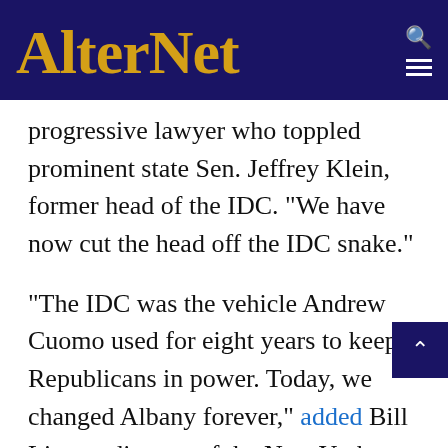AlterNet
progressive lawyer who toppled prominent state Sen. Jeffrey Klein, former head of the IDC. "We have now cut the head off the IDC snake."
"The IDC was the vehicle Andrew Cuomo used for eight years to keep Republicans in power. Today, we changed Albany forever," added Bill Lipton, director of the New York Working Families Party. "He's going to return to an Albany he doesn't recognize, where he's no longer the center of debate. He's going to have